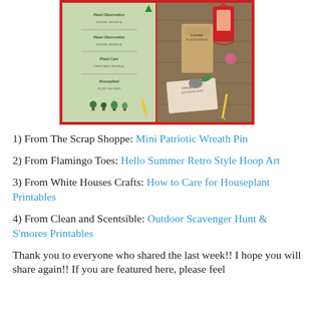[Figure (photo): Collage of two photos: left shows plant observation printables with green plant illustrations, right shows a nature scavenger hunt bag and materials on a wooden table with a red lantern.]
1) From The Scrap Shoppe: Mini Patriotic Wreath Pin
2) From Flamingo Toes: Hello Summer Retro Style Hoop Art
3) From White Houses Crafts: How to Care for Houseplant Printables
4) From Clean and Scentsible: Outdoor Scavenger Hunt & S'mores Printables
Thank you to everyone who shared the last week!! I hope you will share again!! If you are featured here, please feel